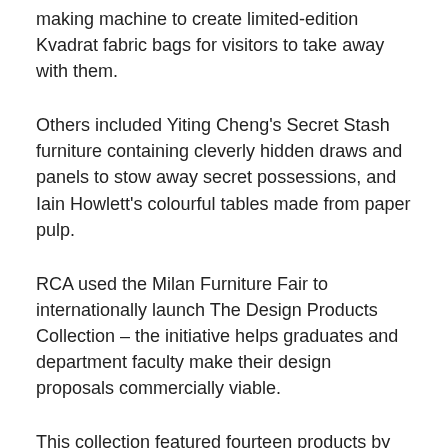making machine to create limited-edition Kvadrat fabric bags for visitors to take away with them.
Others included Yiting Cheng's Secret Stash furniture containing cleverly hidden draws and panels to stow away secret possessions, and Iain Howlett's colourful tables made from paper pulp.
RCA used the Milan Furniture Fair to internationally launch The Design Products Collection – the initiative helps graduates and department faculty make their design proposals commercially viable.
This collection featured fourteen products by thirteen designers including a cardboard table by El Ultimo Grito, a stool by Oscar Narud from Okay Studio, and the In-betweening Clock by Hye-Yeon Park – another Brit Insurance Design nominee.
Tord Boontje and Gareth Williams personally selected the designs and called it 'First Hand' because it gives buyers